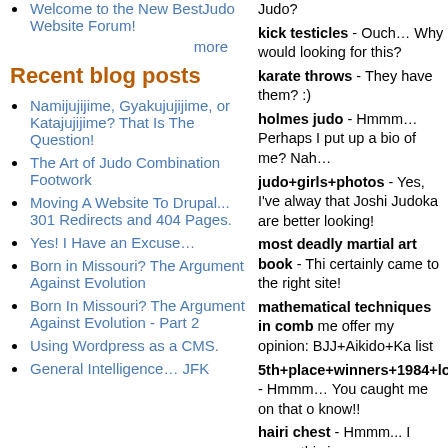Welcome to the New BestJudo Website Forum!
more
Recent blog posts
Namijujijime, Gyakujujijime, or Katajujijime? That Is The Question!
The Art of Judo Combination Footwork
Moving A Website To Drupal... 301 Redirects and 404 Pages.
Yes! I Have an Excuse…
Born in Missouri? The Argument Against Evolution
Born In Missouri? The Argument Against Evolution - Part 2
Using Wordpress as a CMS.
General Intelligence… JFK & JFK Investigation
kick testicles - Ouch… Why would looking for this?
karate throws - They have them? :)
holmes judo - Hmmm… Perhaps I put up a bio of me? Nah…
judo+girls+photos - Yes, I've always that Joshi Judoka are better looking!
most deadly martial art book - This certainly came to the right site!
mathematical techniques in comb me offer my opinion: BJJ+Aikido+Ka list
5th+place+winners+1984+los+ang - Hmmm… You caught me on that o know!!
hairi chest - Hmmm... I guess this is same guy looking for "Judo women"
"dating" and "judo" - Does the Kod have a policy on this issue?
chest expander exercises - How d end up here?
judo mistress - A little dangerous, c think?
salutation etiquette canada - Wha different than everyone else?
blow to the testicles - Ouch again